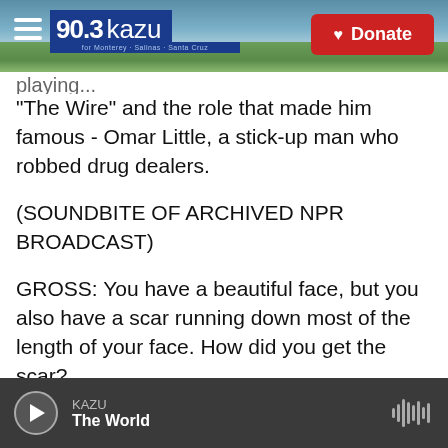90.3 KAZU | Donate
"The Wire" and the role that made him famous - Omar Little, a stick-up man who robbed drug dealers.
(SOUNDBITE OF ARCHIVED NPR BROADCAST)
GROSS: You have a beautiful face, but you also have a scar running down most of the length of your face. How did you get the scar?
WILLIAMS: Well, first of all, thank you for the compliment. And fighting. It was a barroom brawl, you know, typical New York City story. wrong place,
KAZU | The World